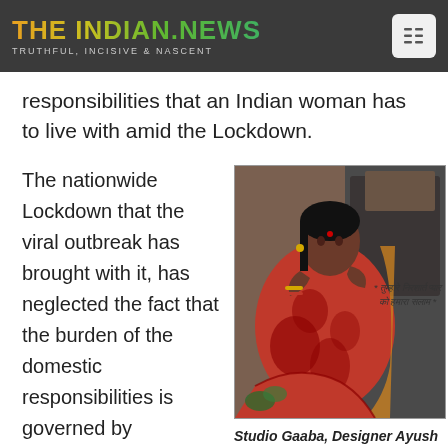THE INDIAN.NEWS — TRUTHFUL, INCISIVE & NASCENT
issue of the disproportionate distribution of household responsibilities that an Indian woman has to live with amid the Lockdown.
The nationwide Lockdown that the viral outbreak has brought with it, has neglected the fact that the burden of the domestic responsibilities is governed by
[Figure (photo): Woman in red saree sitting in a posed artistic photograph for Studio Gaaba visual concept. Hindi text overlay: * तुम्हारे निरशार्त प्यार को हमारा सलाम *]
Studio Gaaba, Designer Ayush Kejriwal release visual concept titled: Rekhwaali